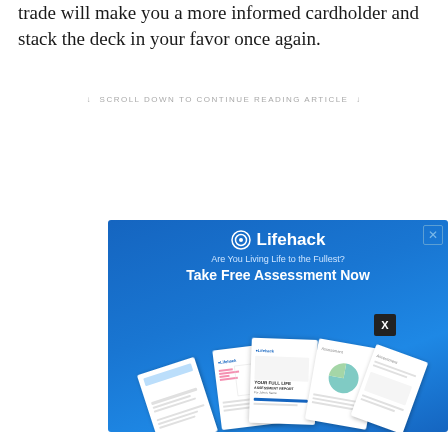trade will make you a more informed cardholder and stack the deck in your favor once again.
↓ SCROLL DOWN TO CONTINUE READING ARTICLE ↓
[Figure (illustration): Lifehack advertisement banner. Blue gradient background with Lifehack logo (circle icon + text), tagline 'Are You Living Life to the Fullest?', CTA 'Take Free Assessment Now', and images of assessment report documents fanned out. Close button (X) in top right corner and dark X button in bottom right.]
[Figure (illustration): Smaller Lifehack sticky ad at bottom. Blue gradient background with small document images on left, text 'Are You Living Life to the Fullest? Take Free Assessment Now' in center, Lifehack logo on right. Close button (X) in top right corner.]